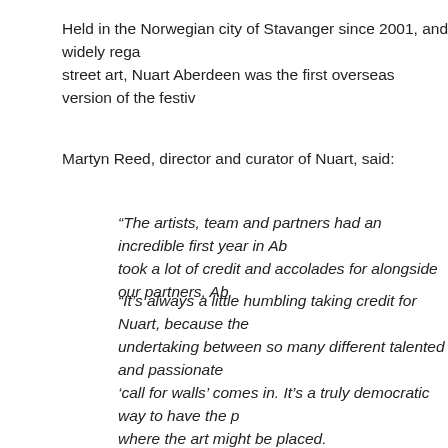Held in the Norwegian city of Stavanger since 2001, and widely rega street art, Nuart Aberdeen was the first overseas version of the festiv
Martyn Reed, director and curator of Nuart, said:
“The artists, team and partners had an incredible first year in Ab took a lot of credit and accolades for alongside our partners, Ab
“It’s always a little humbling taking credit for Nuart, because the undertaking between so many different talented and passionate ‘call for walls’ comes in. It’s a truly democratic way to have the p where the art might be placed.
“We can’t wait to see what comes in and to get feedback from a in town shortly to scout locations, and the more options we get t
Shaun Hose, Assistant Director of Rockspring, which owns Aberdee of the inaugural festival has encouraged property owners to come fo
He said: